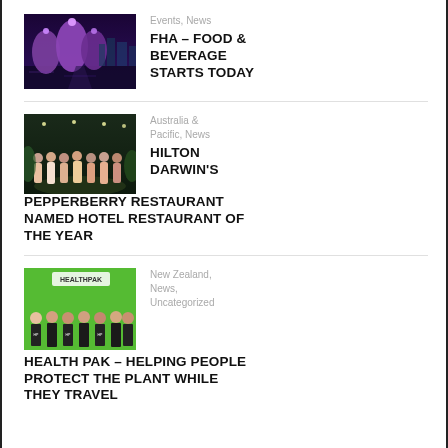[Figure (photo): Night cityscape with purple-lit trees and skyline, Singapore Gardens by the Bay]
Events, News
FHA – FOOD & BEVERAGE STARTS TODAY
[Figure (photo): Group of people standing on a stage at an awards event]
Australia & Pacific, News
HILTON DARWIN'S PEPPERBERRY RESTAURANT NAMED HOTEL RESTAURANT OF THE YEAR
[Figure (photo): Group of people in black t-shirts with HealthPak branding in front of green wall]
New Zealand, News, Uncategorized
HEALTH PAK – HELPING PEOPLE PROTECT THE PLANT WHILE THEY TRAVEL